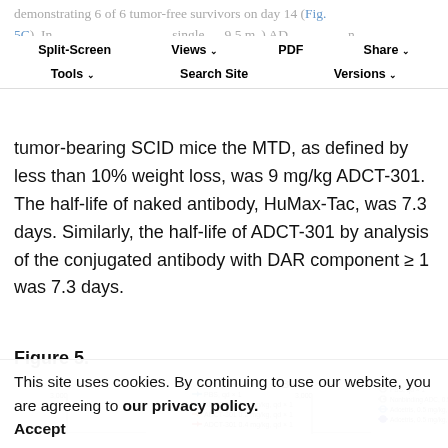demonstrating 6 of 6 tumor-free survivors on day 14 (Fig. 5C). In a single (9.5 mg) ADC in non-disseminated CD25-negative Ramos xenografts failed to show a survival benefit (Supplementary Fig. S6). In non–tumor-bearing SCID mice the MTD, as defined by less than 10% weight loss, was 9 mg/kg ADCT-301. The half-life of naked antibody, HuMax-Tac, was 7.3 days. Similarly, the half-life of ADCT-301 by analysis of the conjugated antibody with DAR component ≥ 1 was 7.3 days.
Split-Screen | Views | PDF | Share | Tools | Search Site | Versions
Figure 5.
[Figure (continuous-plot): Figure 5 panels A and B: line charts showing tumor growth or survival curves for SCID mice treated with PBS, ADCT-301 at various doses (0.1, 0.2, 0.4 mg/kg), and Adcetris at various doses. Y-axis shows values up to 3,000. Panel A legend shows PBS qd×1, ADCT-301 0.1 mg/kg qd×1, ADCT-301 0.2 mg/kg qd×1, ADCT-301 0.4 mg/kg qd×1. Panel B legend shows PBS qd×1, Nonbinding ADC 0.5 mg/kg qd×1, Adcetris 0.5 mg/kg qd×1, Adcetris 0.5 mg/kg qd×4.]
This site uses cookies. By continuing to use our website, you are agreeing to our privacy policy. Accept